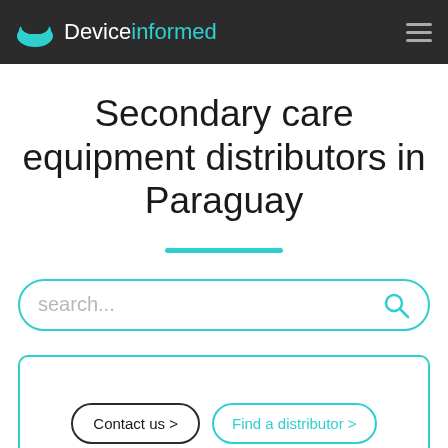Deviceinformed
Secondary care equipment distributors in Paraguay
search...
Contact us > Find a distributor >